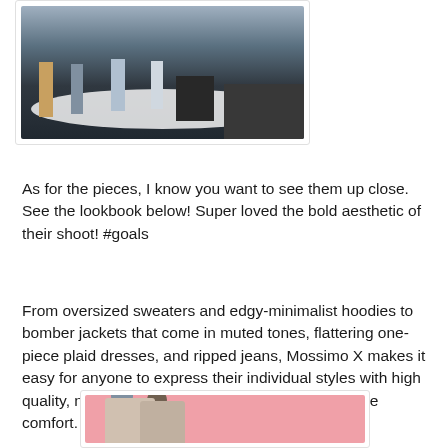[Figure (photo): Fashion show photo showing models on a white oval stage with a dark background and audience visible on the right side]
As for the pieces, I know you want to see them up close. See the lookbook below! Super loved the bold aesthetic of their shoot! #goals
From oversized sweaters and edgy-minimalist hoodies to bomber jackets that come in muted tones, flattering one-piece plaid dresses, and ripped jeans, Mossimo X makes it easy for anyone to express their individual styles with high quality, no nonsense pieces that do not compromise comfort. <3
[Figure (photo): Two young people posing together against a pink background, wearing casual streetwear with sunglasses]